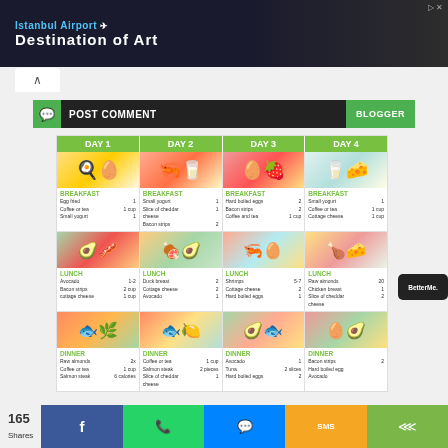[Figure (infographic): Istanbul Airport 'Destination of Art' advertisement banner with dark background]
POST COMMENT | BLOGGER
[Figure (infographic): 4-day meal plan infographic grid showing Breakfast, Lunch, and Dinner for Days 1-4 with food images and item lists. Day 1 Breakfast: Egg fried, Coffee or tea 1 cup, Small yogurt. Lunch: Avocado, Bacon strips 2 cup, cottage cheese 1 cup. Dinner: Raw almonds 2x, Coffee or tea 1 cup, Salmon steak 6 calories. Day 2 Breakfast: Small yogurt, Slice of cheddar cheese, Bacon strips 2. Lunch: Duck breast 2, Cottage cheese 2, Avocado 1. Dinner: Coffee or tea 1 cup, Salmon steak 2 pieces, Slice of cheddar cheese. Day 3 Breakfast: Hard boiled eggs 2, Bacon strips 2, Coffee and tea 1 cup. Lunch: Shrimps 5-7, Cottage cheese 2, Hard boiled eggs 1. Dinner: Avocado 1, Tuna 2 slices, Hard boiled eggs 2. Day 4 Breakfast: Small yogurt 1, Coffee or tea 1 cup, Cottage cheese 1 cup. Lunch: Raw almonds 20, Chicken breast 1, Slice of cheddar cheese 2. Dinner: Bacon strips 2, Hard boiled eggs, Avocado.]
165 Shares